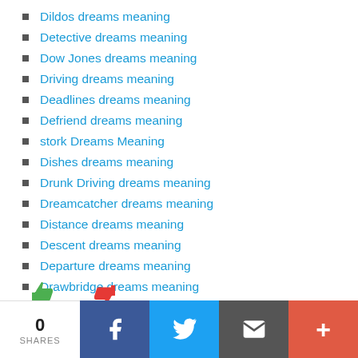Dildos dreams meaning
Detective dreams meaning
Dow Jones dreams meaning
Driving dreams meaning
Deadlines dreams meaning
Defriend dreams meaning
stork Dreams Meaning
Dishes dreams meaning
Drunk Driving dreams meaning
Dreamcatcher dreams meaning
Distance dreams meaning
Descent dreams meaning
Departure dreams meaning
Drawbridge dreams meaning
[Figure (other): Thumbs up (green) and thumbs down (red) feedback icons]
0 SHARES | Facebook | Twitter | Email | More